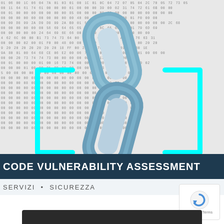[Figure (illustration): Background of hexadecimal code dump in grey monospace text, overlaid with a 3D metallic chain link image in the center, and cyan-colored angle bracket symbols (< and >) on either side of the chain]
CODE VULNERABILITY ASSESSMENT
SERVIZI • SICUREZZA
[Figure (logo): Google reCAPTCHA badge with circular arrow logo, showing Privacy - Terms text below]